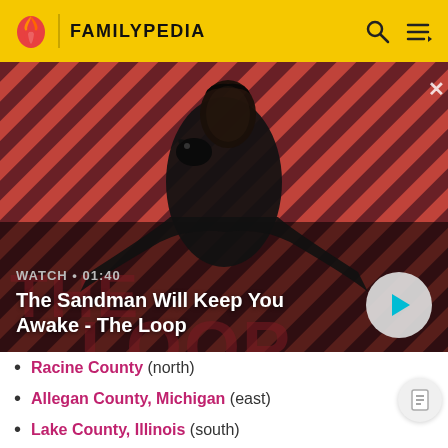FAMILYPEDIA
[Figure (screenshot): Video thumbnail showing a dark-clad figure with a raven on shoulder against a red diagonal striped background. Title text 'THE LOOP' visible. Watch duration label '01:40' shown. Play button overlay.]
The Sandman Will Keep You Awake - The Loop
Racine County (north)
Allegan County, Michigan (east)
Lake County, Illinois (south)
McHenry County, Illinois (southwest)
Walworth County (west)